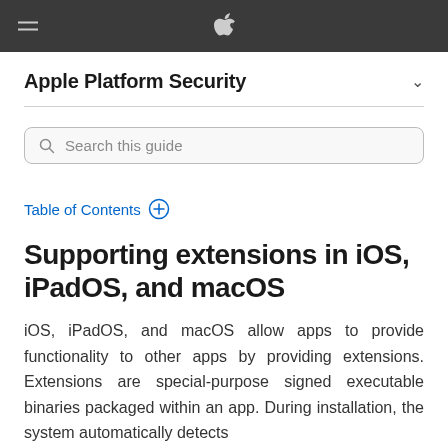Apple Platform Security
Search this guide
Table of Contents
Supporting extensions in iOS, iPadOS, and macOS
iOS, iPadOS, and macOS allow apps to provide functionality to other apps by providing extensions. Extensions are special-purpose signed executable binaries packaged within an app. During installation, the system automatically detects